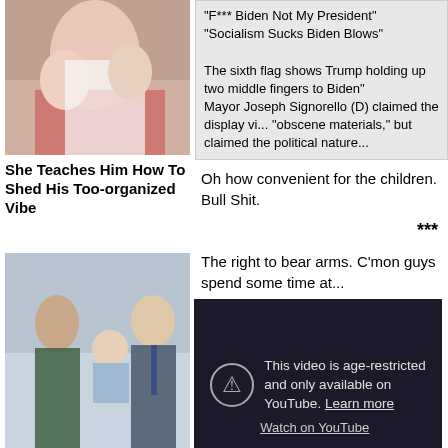[Figure (photo): Couple on bed, lifestyle/entertainment article image]
She Teaches Him How To Shed His Too-organized Vibe
"F*** Biden Not My President"
"Socialism Sucks Biden Blows"

The sixth flag shows Trump holding up two middle fingers to Biden"
Mayor Joseph Signorello (D) claimed the display vi... "obscene materials," but claimed the political nature...
Oh how convenient for the children. Bull Shit.
***
The right to bear arms. C'mon guys spend some time at...
[Figure (photo): Meghan, Harry, and their baby Archie]
Meghan And Harry's Royal Baby: Everything You Need To Know
[Figure (screenshot): YouTube age-restricted video player showing: This video is age-restricted and only available on YouTube. Learn more. Watch on YouTube.]